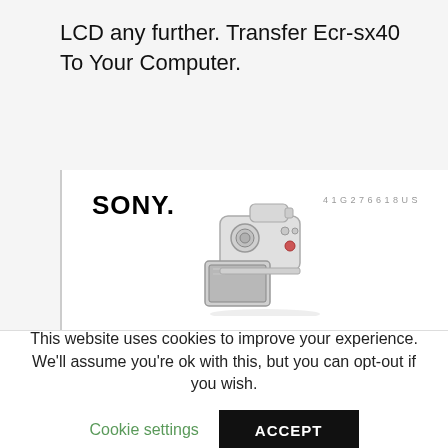LCD any further. Transfer Ecr-sx40 To Your Computer.
[Figure (screenshot): Sony product manual cover page showing the SONY logo in bold, a product code number top right, and an illustration of a Sony camcorder/handycam at the bottom center.]
This website uses cookies to improve your experience. We'll assume you're ok with this, but you can opt-out if you wish.
Cookie settings
ACCEPT